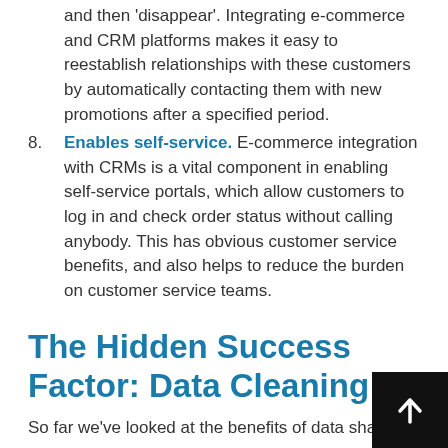and then 'disappear'. Integrating e-commerce and CRM platforms makes it easy to reestablish relationships with these customers by automatically contacting them with new promotions after a specified period.
8. Enables self-service. E-commerce integration with CRMs is a vital component in enabling self-service portals, which allow customers to log in and check order status without calling anybody. This has obvious customer service benefits, and also helps to reduce the burden on customer service teams.
The Hidden Success Factor: Data Cleaning
So far we've looked at the benefits of data shari